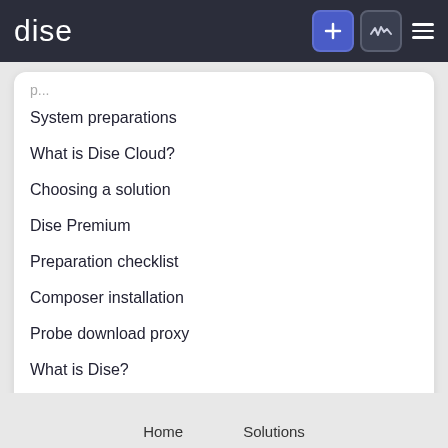dise
System preparations
What is Dise Cloud?
Choosing a solution
Dise Premium
Preparation checklist
Composer installation
Probe download proxy
What is Dise?
Autoregister players
Home   Solutions